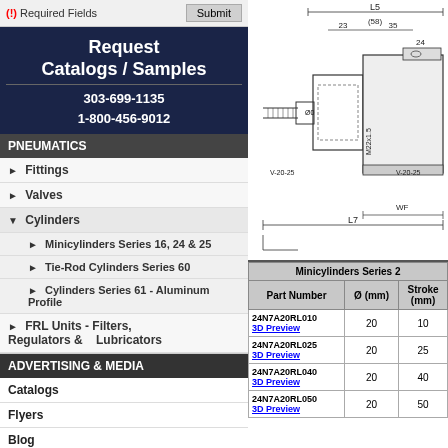(!) Required Fields  [Submit]
Request Catalogs / Samples
303-699-1135
1-800-456-9012
PNEUMATICS
Fittings
Valves
Cylinders
Minicylinders Series 16, 24 & 25
Tie-Rod Cylinders Series 60
Cylinders Series 61 - Aluminum  Profile
FRL Units - Filters, Regulators &  Lubricators
ADVERTISING & MEDIA
Catalogs
Flyers
Blog
[Figure (engineering-diagram): Technical drawing of a minicylinder showing dimensions L5, L7, WF, 23, 35, 24, M5, (58), Ø0, M22x1.5, V-20-25 annotations]
| Part Number | Ø (mm) | Stroke (mm) |
| --- | --- | --- |
| 24N7A20RL010 3D Preview | 20 | 10 |
| 24N7A20RL025 3D Preview | 20 | 25 |
| 24N7A20RL040 3D Preview | 20 | 40 |
| 24N7A20RL050 3D Preview | 20 | 50 |